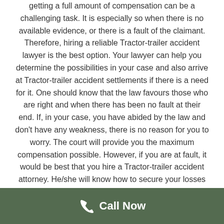getting a full amount of compensation can be a challenging task. It is especially so when there is no available evidence, or there is a fault of the claimant. Therefore, hiring a reliable Tractor-trailer accident lawyer is the best option. Your lawyer can help you determine the possibilities in your case and also arrive at Tractor-trailer accident settlements if there is a need for it. One should know that the law favours those who are right and when there has been no fault at their end. If, in your case, you have abided by the law and don't have any weakness, there is no reason for you to worry. The court will provide you the maximum compensation possible. However, if you are at fault, it would be best that you hire a Tractor-trailer accident attorney. He/she will know how to secure your losses and come to an average settlement for a tractor-trailer accident. Without the
[Figure (other): Green call-to-action bar with phone icon and 'Call Now' text]